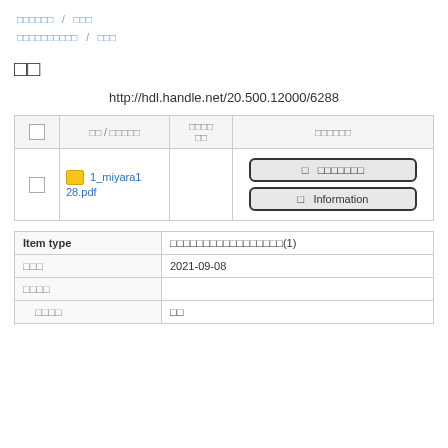□□□□□□ / □□□ □□□□□□□□□□ / □□□
□□
http://hdl.handle.net/20.500.12000/6288
|  | □□ / □□□□□ | □□□□ □□ | □□□□□□ |
| --- | --- | --- | --- |
|  | 1_miyara128.pdf |  | □ □□□□□□ □ Information |
| Item type | □□□□□□□□□□□□□□□□□(1) |
| --- | --- |
| □□□ | 2021-09-08 |
| □□□□ |  |
| □□□□ | □□ |